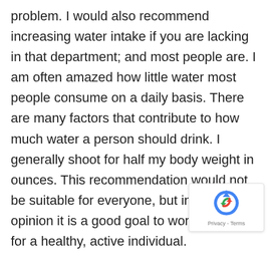problem. I would also recommend increasing water intake if you are lacking in that department; and most people are. I am often amazed how little water most people consume on a daily basis. There are many factors that contribute to how much water a person should drink. I generally shoot for half my body weight in ounces. This recommendation would not be suitable for everyone, but in my opinion it is a good goal to work towards for a healthy, active individual.
By increasing your water intake and adding magnesium you will drastically reduce your chances of suffering from restless leg syndrome and muscle cramps.
When adding magnesium to your diet there is a possibility of loosening of the stool or an upset